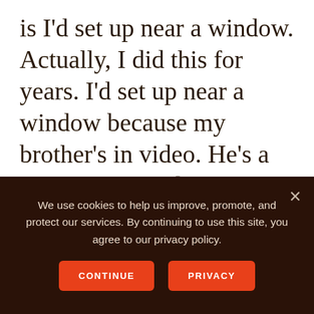is I'd set up near a window. Actually, I did this for years. I'd set up near a window because my brother's in video. He's a professional videographer, and he has a business doing that with big companies like Adobe, so I'd ask him for some of these essentials, and he'd give me of the basics. I'd set
We use cookies to help us improve, promote, and protect our services. By continuing to use this site, you agree to our privacy policy.